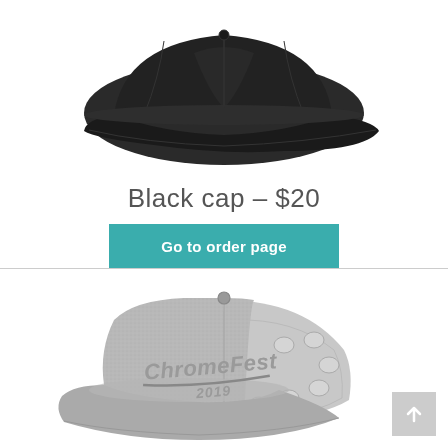[Figure (photo): Black baseball cap viewed from the front-side angle, plain dark cap with visor, against white background]
Black cap – $20
Go to order page
[Figure (photo): Gray ChromeFest 2019 trucker cap with mesh back, viewed from the front-left angle, showing ChromeFest 2019 logo embroidered on the front panel]